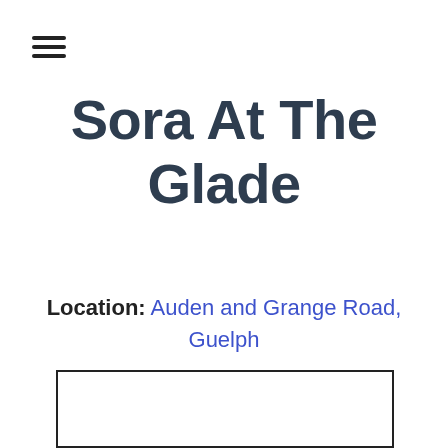[Figure (other): Hamburger menu icon with three horizontal lines]
Sora At The Glade
Location: Auden and Grange Road, Guelph
[Figure (map): Map placeholder box showing location area, partially cropped at bottom of page]